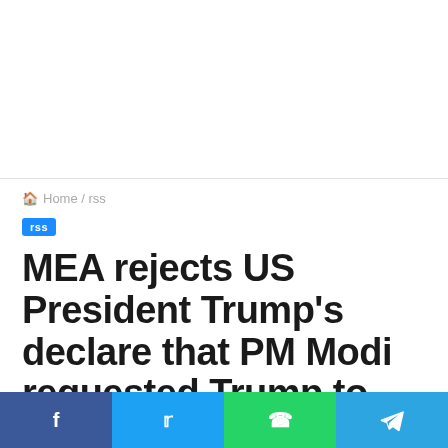[Figure (other): Advertisement/banner area at top of page]
🏠 Home / rss
rss
MEA rejects US President Trump's declare that PM Modi requested Trump to mediate on Kashmir
[Figure (other): Social sharing bar with Facebook, Twitter, WhatsApp, and Telegram buttons]